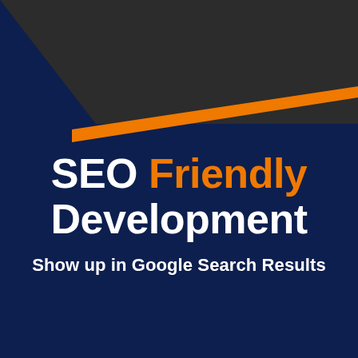[Figure (infographic): Dark charcoal angled banner at top with orange diagonal stripe dividing top dark section from dark navy blue background below]
SEO Friendly Development
Show up in Google Search Results